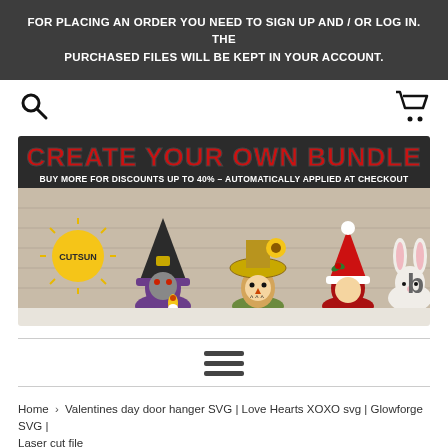FOR PLACING AN ORDER YOU NEED TO SIGN UP AND / OR LOG IN. THE PURCHASED FILES WILL BE KEPT IN YOUR ACCOUNT.
[Figure (screenshot): Navigation bar with search icon on left and shopping cart icon on right]
[Figure (illustration): Banner advertisement: CREATE YOUR OWN BUNDLE - BUY MORE FOR DISCOUNTS UP TO 40% - AUTOMATICALLY APPLIED AT CHECKOUT, with CutSun logo and seasonal gnome characters]
[Figure (other): Hamburger menu icon (three horizontal lines)]
Home › Valentines day door hanger SVG | Love Hearts XOXO svg | Glowforge SVG | Laser cut file